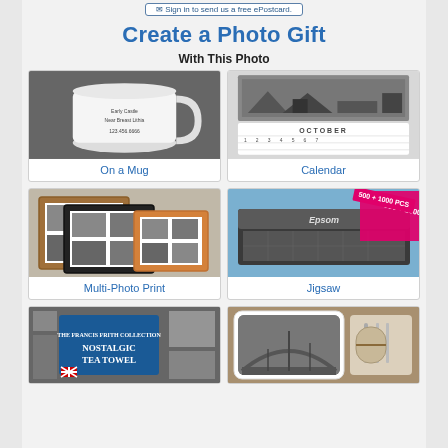Sign in to send us a free ePostcard.
Create a Photo Gift
With This Photo
[Figure (photo): White mug with photo print on dark background]
On a Mug
[Figure (photo): October wall calendar with black and white street photo]
Calendar
[Figure (photo): Multi-photo print in wooden frames]
Multi-Photo Print
[Figure (photo): Jigsaw puzzle box 500+1000 pieces with Epsom label]
Jigsaw
[Figure (photo): Francis Frith Nostalgic Tea Towel product]
[Figure (photo): Coaster with black and white bridge photo on wooden table]